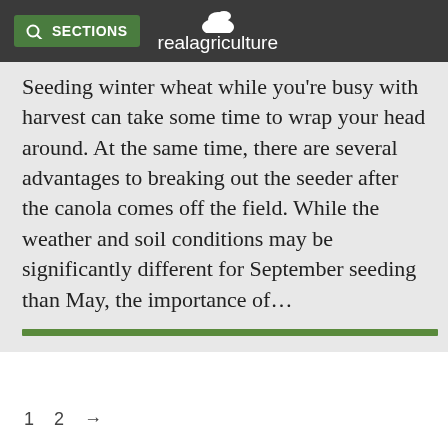SECTIONS realagriculture
Seeding winter wheat while you're busy with harvest can take some time to wrap your head around. At the same time, there are several advantages to breaking out the seeder after the canola comes off the field. While the weather and soil conditions may be significantly different for September seeding than May, the importance of…
1  2  →